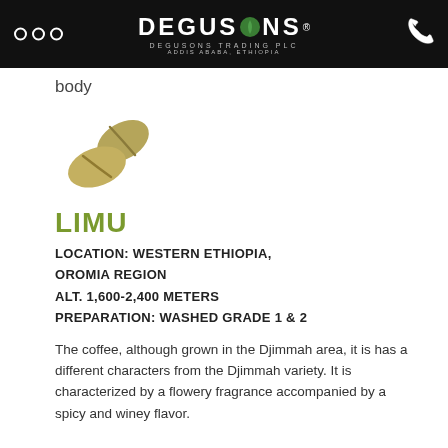DEGUSONS TRADING PLC ADDIS ABABA, ETHIOPIA
body
[Figure (illustration): Two golden/olive colored coffee beans icon]
LIMU
LOCATION: WESTERN ETHIOPIA, OROMIA REGION
ALT. 1,600-2,400 METERS
PREPARATION: WASHED GRADE 1 & 2
The coffee, although grown in the Djimmah area, it is has a different characters from the Djimmah variety. It is characterized by a flowery fragrance accompanied by a spicy and winey flavor.